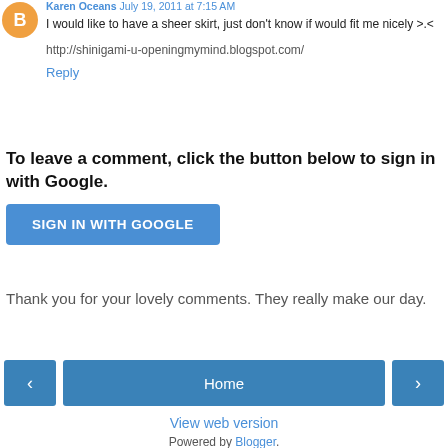Karen Oceans July 19, 2011 at 7:15 AM
I would like to have a sheer skirt, just don't know if would fit me nicely >.<
http://shinigami-u-openingmymind.blogspot.com/
Reply
To leave a comment, click the button below to sign in with Google.
SIGN IN WITH GOOGLE
Thank you for your lovely comments. They really make our day.
Home
View web version
Powered by Blogger.